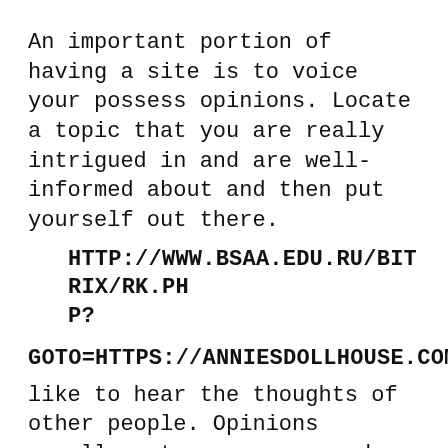An important portion of having a site is to voice your possess opinions. Locate a topic that you are really intrigued in and are well-informed about and then put yourself out there.
HTTP://WWW.BSAA.EDU.RU/BITRIX/RK.PHP?
GOTO=HTTPS://ANNIESDOLLHOUSE.COM
like to hear the thoughts of other people. Opinions usually get a response and reactions garner visitors and feedback.
Deliver an invitation to successful bloggers and inquire them to compose guest posts